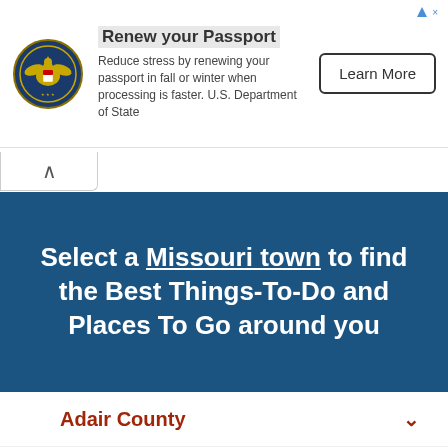[Figure (other): Advertisement banner: Renew your Passport - U.S. Department of State with Learn More button]
Select a Missouri town to find the Best Things-To-Do and Places To Go around you
Adair County
Andrew County
Atchison County
Audrain County